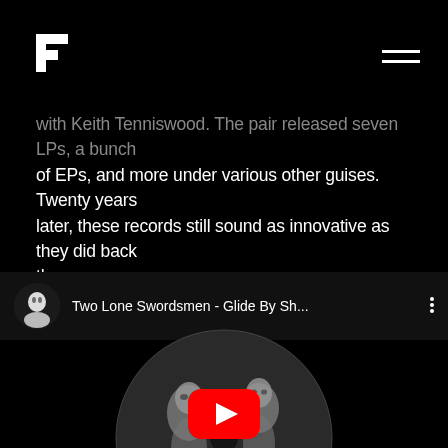Resident Advisor logo and hamburger menu
with Keith Tenniswood. The pair released seven LPs, a bunch of EPs, and more under various other guises. Twenty years later, these records still sound as innovative as they did back then.
[Figure (screenshot): Embedded YouTube video player showing 'Two Lone Swordsmen - Glide By Sh...' with a circular vinyl record thumbnail featuring two illustrated figures, and a red YouTube play button in the center.]